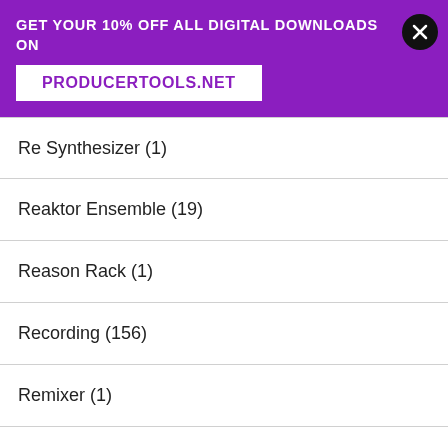GET YOUR 10% OFF ALL DIGITAL DOWNLOADS ON PRODUCERTOOLS.NET
Re Synthesizer (1)
Reaktor Ensemble (19)
Reason Rack (1)
Recording (156)
Remixer (1)
Resynthesizer (1)
Rewire (2)
Sample Based (401)
Scoring (6)
No compatible source was found for this media.